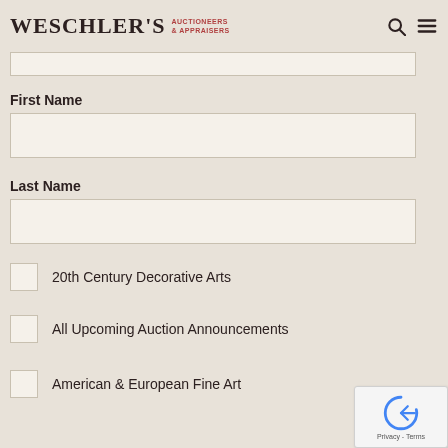WESCHLER'S AUCTIONEERS & APPRAISERS
First Name
Last Name
20th Century Decorative Arts
All Upcoming Auction Announcements
American & European Fine Art